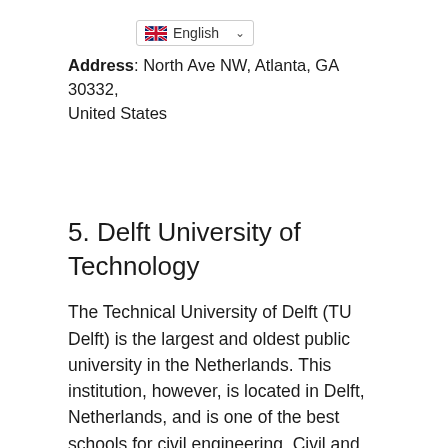[Figure (screenshot): Language selector dropdown showing UK flag and 'English' with a dropdown arrow]
Address: North Ave NW, Atlanta, GA 30332, United States
5. Delft University of Technology
The Technical University of Delft (TU Delft) is the largest and oldest public university in the Netherlands. This institution, however, is located in Delft, Netherlands, and is one of the best schools for civil engineering. Civil and structural engineering, mechanical engineering, environmental studies,